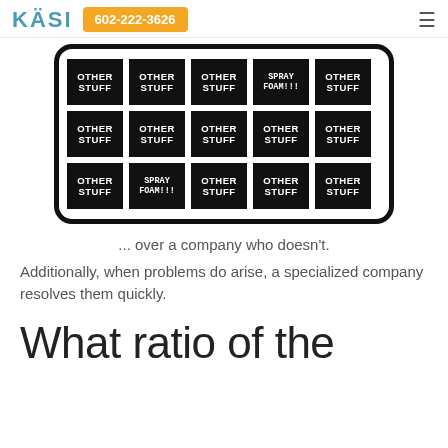KÄSI  602-222-3626
[Figure (infographic): A grid of 15 black cells arranged in 3 rows of 5, inside a rounded black border frame. Most cells say 'OTHER STUFF' in bold white text. Two cells say 'SPRAY FOAM!!!' in a handwritten-style font.]
... over a company who doesn't.
Additionally, when problems do arise, a specialized company resolves them quickly.
What ratio of the